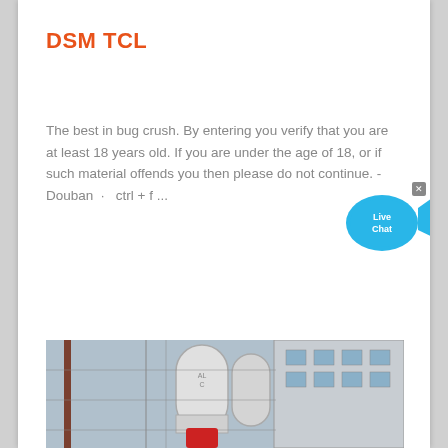DSM TCL
The best in bug crush. By entering you verify that you are at least 18 years old. If you are under the age of 18, or if such material offends you then please do not continue. - Douban · ctrl + f ...
[Figure (illustration): Live Chat bubble icon with fish shape in blue, with a small close (x) button in the top right corner]
[Figure (photo): Industrial site photo showing silos and building structures with scaffolding]